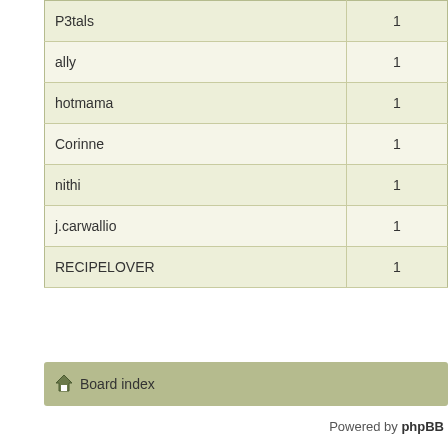| Username | Count |
| --- | --- |
| P3tals | 1 |
| ally | 1 |
| hotmama | 1 |
| Corinne | 1 |
| nithi | 1 |
| j.carwallio | 1 |
| RECIPELOVER | 1 |
Board index
Powered by phpBB